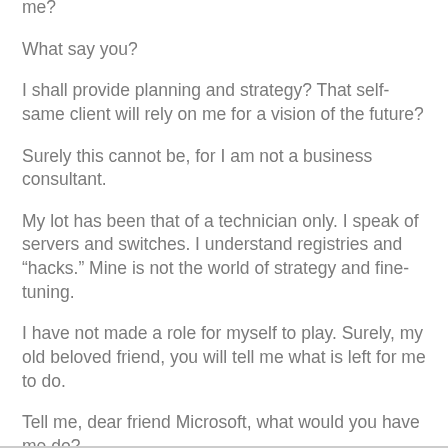me?
What say you?
I shall provide planning and strategy? That self-same client will rely on me for a vision of the future?
Surely this cannot be, for I am not a business consultant.
My lot has been that of a technician only. I speak of servers and switches. I understand registries and "hacks." Mine is not the world of strategy and fine-tuning.
I have not made a role for myself to play. Surely, my old beloved friend, you will tell me what is left for me to do.
Tell me, dear friend Microsoft, what would you have me do?
For, surely, you cannot abandon me.
Microsoft, oh Microsoft. Why have you abandoned me?